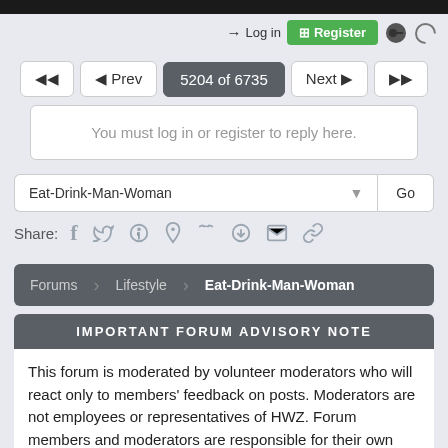→ Log in   ⊞ Register
5204 of 6735
You must log in or register to reply here.
Eat-Drink-Man-Woman   Go
Share:  f  t  reddit  p  t  whatsapp  mail  link
Forums > Lifestyle > Eat-Drink-Man-Woman
IMPORTANT FORUM ADVISORY NOTE
This forum is moderated by volunteer moderators who will react only to members' feedback on posts. Moderators are not employees or representatives of HWZ. Forum members and moderators are responsible for their own posts.